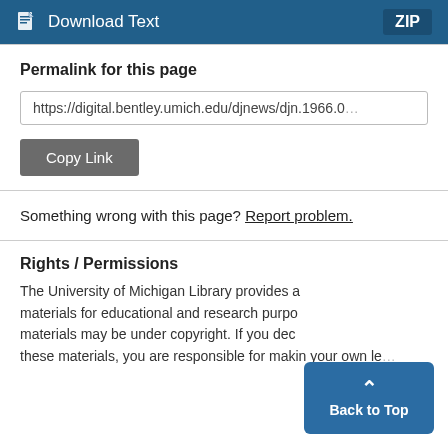Download Text  ZIP
Permalink for this page
https://digital.bentley.umich.edu/djnews/djn.1966.0
Copy Link
Something wrong with this page? Report problem.
Rights / Permissions
The University of Michigan Library provides a materials for educational and research purpo materials may be under copyright. If you dec these materials, you are responsible for makin your own le